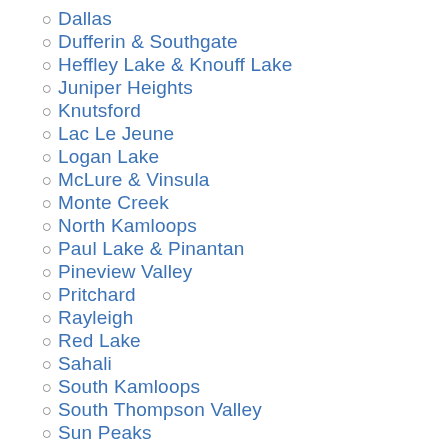Dallas
Dufferin & Southgate
Heffley Lake & Knouff Lake
Juniper Heights
Knutsford
Lac Le Jeune
Logan Lake
McLure & Vinsula
Monte Creek
North Kamloops
Paul Lake & Pinantan
Pineview Valley
Pritchard
Rayleigh
Red Lake
Sahali
South Kamloops
South Thompson Valley
Sun Peaks
Sun Rivers